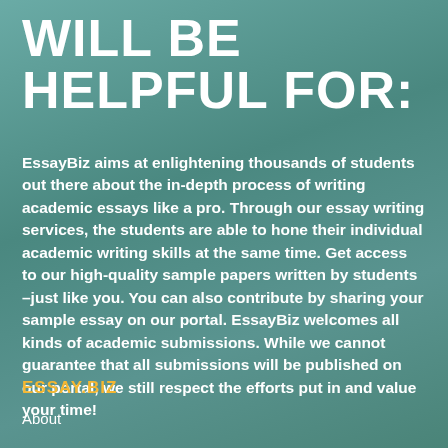WILL BE HELPFUL FOR:
EssayBiz aims at enlightening thousands of students out there about the in-depth process of writing academic essays like a pro. Through our essay writing services, the students are able to hone their individual academic writing skills at the same time. Get access to our high-quality sample papers written by students –just like you. You can also contribute by sharing your sample essay on our portal. EssayBiz welcomes all kinds of academic submissions. While we cannot guarantee that all submissions will be published on our portal, we still respect the efforts put in and value your time!
ESSAY.BIZ
About